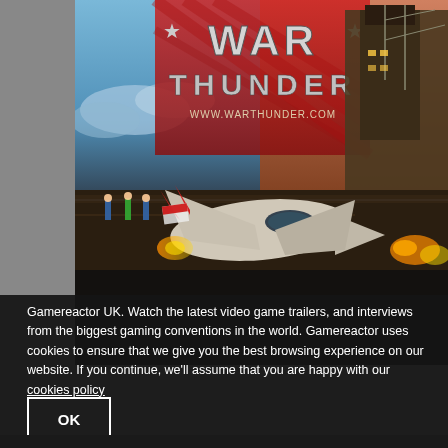[Figure (illustration): War Thunder game advertisement showing a fighter jet on an aircraft carrier deck with the War Thunder logo and www.warthunder.com URL. Sky background with dramatic lighting and military personnel visible.]
Gamereactor UK. Watch the latest video game trailers, and interviews from the biggest gaming conventions in the world. Gamereactor uses cookies to ensure that we give you the best browsing experience on our website. If you continue, we'll assume that you are happy with our cookies policy
OK